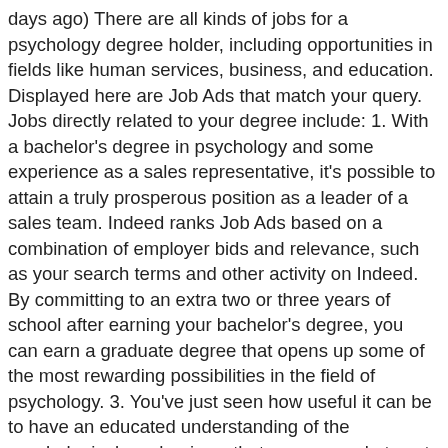days ago) There are all kinds of jobs for a psychology degree holder, including opportunities in fields like human services, business, and education. Displayed here are Job Ads that match your query. Jobs directly related to your degree include: 1. With a bachelor's degree in psychology and some experience as a sales representative, it's possible to attain a truly prosperous position as a leader of a sales team. Indeed ranks Job Ads based on a combination of employer bids and relevance, such as your search terms and other activity on Indeed. By committing to an extra two or three years of school after earning your bachelor's degree, you can earn a graduate degree that opens up some of the most rewarding possibilities in the field of psychology. 3. You've just seen how useful it can be to have an educated understanding of the psychological mechanisms that cause people to act (or not act) in certain ways. Page 1 of 112 jobs. Search Bachelors degree psychology jobs. By Josh Dehaas February 27, 2012. Students and taxpayers could benefit from a fork in the road. Most psychologists in this part of the field have earned an Education Specialist (Ed.S.) It provides a way to see the reasons behind our actions, which lets us understand and improve upon those actions for the betterment of our individual selves, our families, our organizations, our communities, and our whole society. Work with people who have physical or emotional disabilities as they strive